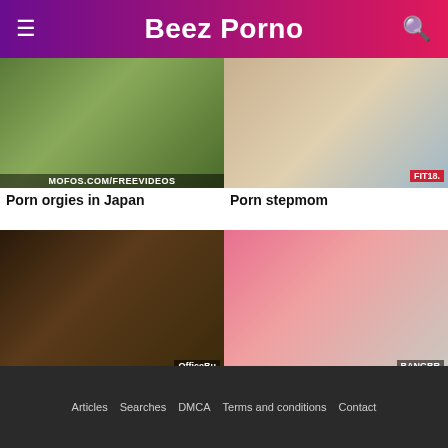Beez Porno
[Figure (photo): Thumbnail image for Porn orgies in Japan with MOFOS.COM/FREEVIDEOS watermark]
Porn orgies in Japan
[Figure (photo): Thumbnail image for Porn stepmom with FIT18 badge]
Porn stepmom
[Figure (photo): Thumbnail image for Black tits porn with big tit... with OfficeBu watermark]
Black tits porn with big tit...
[Figure (photo): Thumbnail image for Porn ad with BANGBR watermark]
Porn ad
Porn videos with Katie bell porn
Articles  Searches  DMCA  Terms and conditions  Contact